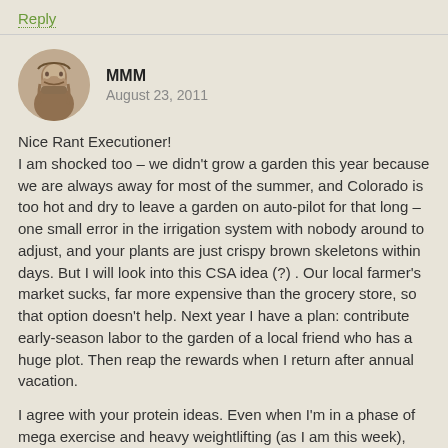Reply
MMM
August 23, 2011
Nice Rant Executioner!
I am shocked too – we didn't grow a garden this year because we are always away for most of the summer, and Colorado is too hot and dry to leave a garden on auto-pilot for that long – one small error in the irrigation system with nobody around to adjust, and your plants are just crispy brown skeletons within days. But I will look into this CSA idea (?) . Our local farmer's market sucks, far more expensive than the grocery store, so that option doesn't help. Next year I have a plan: contribute early-season labor to the garden of a local friend who has a huge plot. Then reap the rewards when I return after annual vacation.
I agree with your protein ideas. Even when I'm in a phase of mega exercise and heavy weightlifting (as I am this week), the diet seems to do the trick, adding muscle as needed with no shortage of energy.
Reply